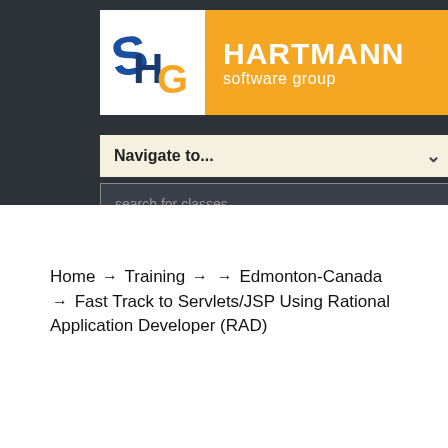[Figure (logo): Hartmann Software Group logo with stylized SHG letters in blue, orange, and gold on white background, beside orange panel with HARTMANN software group text in white]
Navigate to...
search for classes
Home → Training → → Edmonton-Canada → Fast Track to Servlets/JSP Using Rational Application Developer (RAD)